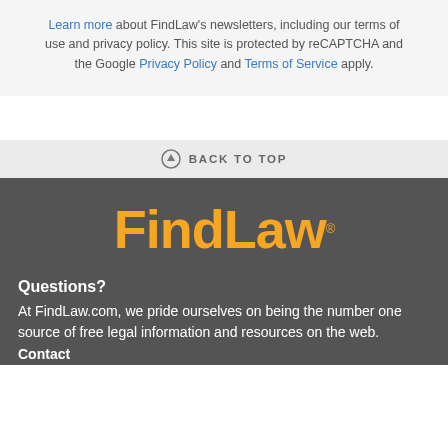Learn more about FindLaw's newsletters, including our terms of use and privacy policy. This site is protected by reCAPTCHA and the Google Privacy Policy and Terms of Service apply.
⬆ BACK TO TOP
[Figure (logo): FindLaw logo in orange text with registered trademark symbol on dark gray background]
Questions?
At FindLaw.com, we pride ourselves on being the number one source of free legal information and resources on the web. Contact